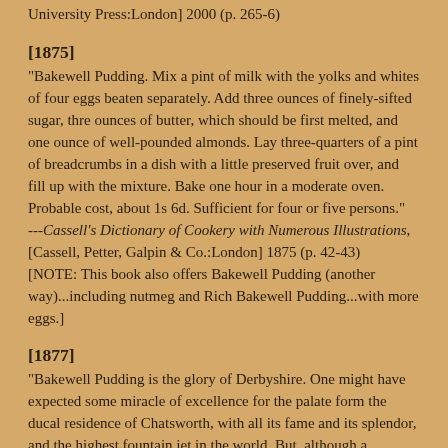University Press:London] 2000 (p. 265-6)
[1875]
"Bakewell Pudding. Mix a pint of milk with the yolks and whites of four eggs beaten separately. Add three ounces of finely-sifted sugar, thre ounces of butter, which should be first melted, and one ounce of well-pounded almonds. Lay three-quarters of a pint of breadcrumbs in a dish with a little preserved fruit over, and fill up with the mixture. Bake one hour in a moderate oven. Probable cost, about 1s 6d. Sufficient for four or five persons."
---Cassell's Dictionary of Cookery with Numerous Illustrations, [Cassell, Petter, Galpin & Co.:London] 1875 (p. 42-43)
[NOTE: This book also offers Bakewell Pudding (another way)...including nutmeg and Rich Bakewell Pudding...with more eggs.]
[1877]
"Bakewell Pudding is the glory of Derbyshire. One might have expected some miracle of excellence for the palate form the ducal residence of Chatsworth, with all its fame and its splendor, and the highest fountain jet in the world. But, although a Duchess of Devonshire once kissed a butcher, the great house of